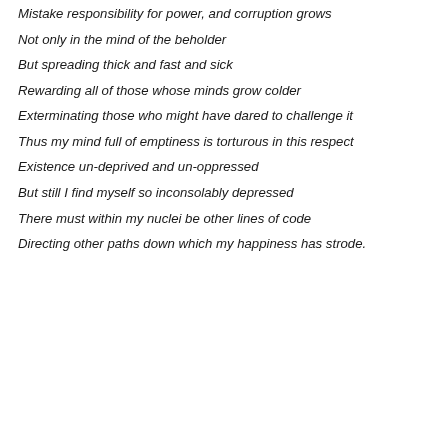Mistake responsibility for power, and corruption grows
Not only in the mind of the beholder
But spreading thick and fast and sick
Rewarding all of those whose minds grow colder
Exterminating those who might have dared to challenge it
Thus my mind full of emptiness is torturous in this respect
Existence un-deprived and un-oppressed
But still I find myself so inconsolably depressed
There must within my nuclei be other lines of code
Directing other paths down which my happiness has strode.